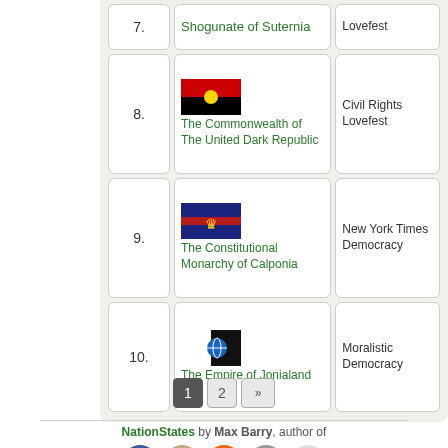| # | Nation | Government |
| --- | --- | --- |
| 7. | Shogunate of Suternia | Lovefest |
| 8. | The Commonwealth of The United Dark Republic | Civil Rights Lovefest |
| 9. | The Constitutional Monarchy of Calponia | New York Times Democracy |
| 10. | The Empire of Jonialand | Moralistic Democracy |
1  2  >>
NationStates by Max Barry, author of